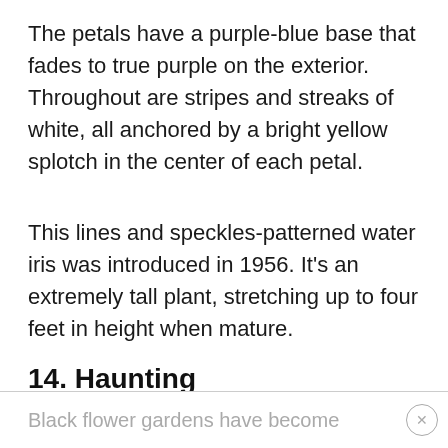The petals have a purple-blue base that fades to true purple on the exterior. Throughout are stripes and streaks of white, all anchored by a bright yellow splotch in the center of each petal.
This lines and speckles-patterned water iris was introduced in 1956. It’s an extremely tall plant, stretching up to four feet in height when mature.
14. Haunting
Black flower gardens have become